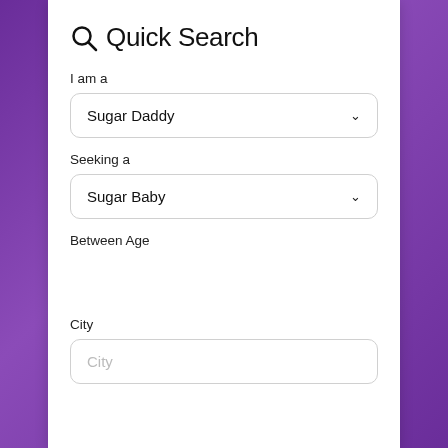Quick Search
I am a
Sugar Daddy
Seeking a
Sugar Baby
Between Age
City
City